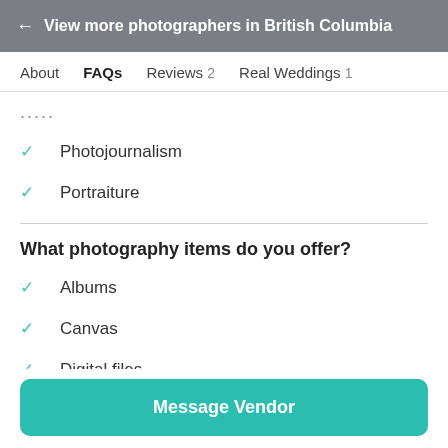← View more photographers in British Columbia
About  FAQs  Reviews 2  Real Weddings 1
....
Photojournalism
Portraiture
What photography items do you offer?
Albums
Canvas
Digital files
Prints (partially visible)
Message Vendor